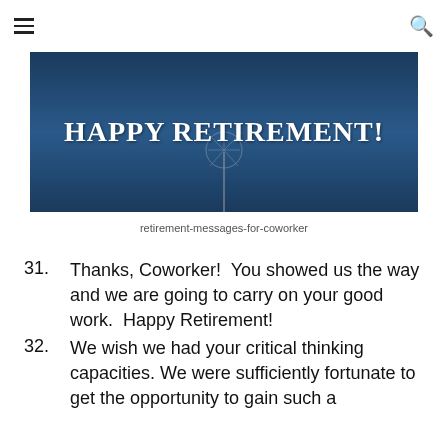☰ [menu] [search]
[Figure (photo): Dark blue background with dandelion and text 'HAPPY RETIREMENT!' in white serif font]
retirement-messages-for-coworker
31. Thanks, Coworker!  You showed us the way and we are going to carry on your good work.  Happy Retirement!
32. We wish we had your critical thinking capacities. We were sufficiently fortunate to get the opportunity to gain such a